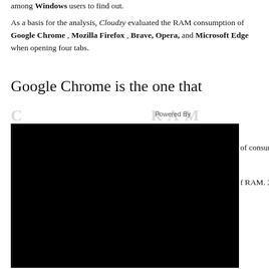among Windows users to find out.
As a basis for the analysis, Cloudzy evaluated the RAM consumption of Google Chrome , Mozilla Firefox , Brave, Opera, and Microsoft Edge when opening four tabs.
Google Chrome is the one that
[Figure (other): Watermark/blurred text overlay reading 'CONSUMES MORE RAM' with 'Powered By' label, followed by a large black rectangle covering most of the lower portion of the page. Partial text visible: 'of consuming' and 'f RAM. 20 tabs']
of consuming
f RAM. 20 tabs